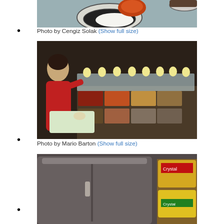[Figure (photo): Top-down view of a plate with white rice and a bowl of red curry sauce on a gray surface]
•
Photo by Cengiz Solak (Show full size)
[Figure (photo): Woman in red shirt working behind a buffet counter with many trays of food under heat lamps]
•
Photo by Mario Barton (Show full size)
[Figure (photo): Stainless steel refrigerator/cooler unit with colorful food product bags visible on the right side]
•